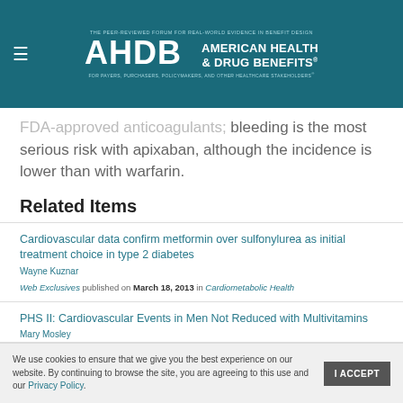AHDB AMERICAN HEALTH & DRUG BENEFITS — THE PEER-REVIEWED FORUM FOR REAL-WORLD EVIDENCE IN BENEFIT DESIGN
FDA-approved anticoagulants; bleeding is the most serious risk with apixaban, although the incidence is lower than with warfarin.
Related Items
Cardiovascular data confirm metformin over sulfonylurea as initial treatment choice in type 2 diabetes
Wayne Kuznar
Web Exclusives published on March 18, 2013 in Cardiometabolic Health
PHS II: Cardiovascular Events in Men Not Reduced with Multivitamins
Mary Mosley
Value-Based Care in Cardiometabolic Health Dec 2012, Vol 1, No 3 published on January 24, 2013 in Cardiometabolic Health
We use cookies to ensure that we give you the best experience on our website. By continuing to browse the site, you are agreeing to this use and our Privacy Policy.